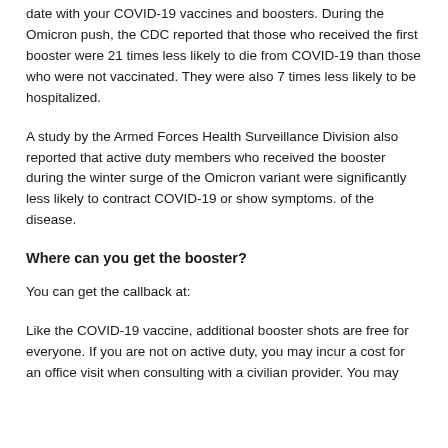date with your COVID-19 vaccines and boosters. During the Omicron push, the CDC reported that those who received the first booster were 21 times less likely to die from COVID-19 than those who were not vaccinated. They were also 7 times less likely to be hospitalized.
A study by the Armed Forces Health Surveillance Division also reported that active duty members who received the booster during the winter surge of the Omicron variant were significantly less likely to contract COVID-19 or show symptoms. of the disease.
Where can you get the booster?
You can get the callback at:
Like the COVID-19 vaccine, additional booster shots are free for everyone. If you are not on active duty, you may incur a cost for an office visit when consulting with a civilian provider. You may